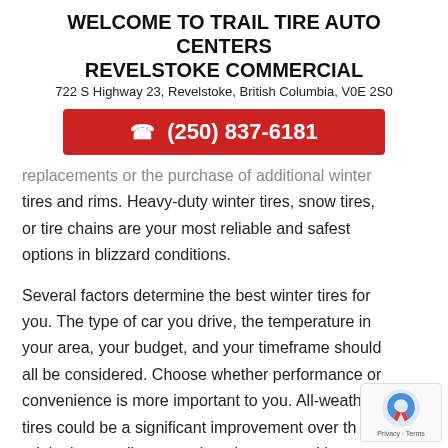WELCOME TO TRAIL TIRE AUTO CENTERS REVELSTOKE COMMERCIAL
722 S Highway 23, Revelstoke, British Columbia, V0E 2S0
(250) 837-6181
replacements or the purchase of additional winter tires and rims. Heavy-duty winter tires, snow tires, or tire chains are your most reliable and safest options in blizzard conditions.
Several factors determine the best winter tires for you. The type of car you drive, the temperature in your area, your budget, and your timeframe should all be considered. Choose whether performance or convenience is more important to you. All-weather tires could be a significant improvement over the original parts all-season tires that came with your...